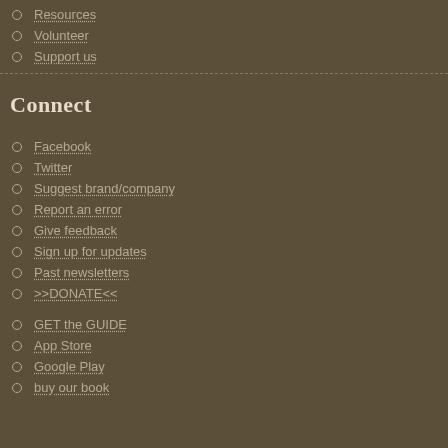Resources
Volunteer
Support us
Connect
Facebook
Twitter
Suggest brand/company
Report an error
Give feedback
Sign up for updates
Past newsletters
>>DONATE<<
GET the GUIDE
App Store
Google Play
buy our book